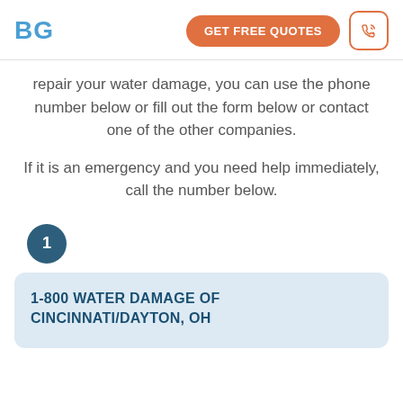BG
repair your water damage, you can use the phone number below or fill out the form below or contact one of the other companies.
If it is an emergency and you need help immediately, call the number below.
1
1-800 WATER DAMAGE OF CINCINNATI/DAYTON, OH